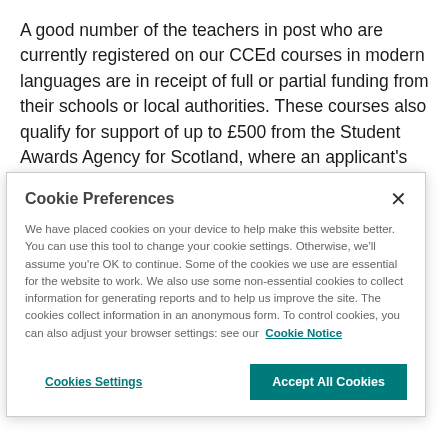A good number of the teachers in post who are currently registered on our CCEd courses in modern languages are in receipt of full or partial funding from their schools or local authorities. These courses also qualify for support of up to £500 from the Student Awards Agency for Scotland, where an applicant's earnings are below the income threshold. Visit
Cookie Preferences
We have placed cookies on your device to help make this website better. You can use this tool to change your cookie settings. Otherwise, we'll assume you're OK to continue. Some of the cookies we use are essential for the website to work. We also use some non-essential cookies to collect information for generating reports and to help us improve the site. The cookies collect information in an anonymous form. To control cookies, you can also adjust your browser settings: see our Cookie Notice